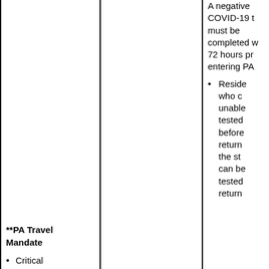A negative COVID-19 test must be completed within 72 hours prior to entering PA.
Residents who are unable to be tested before returning to the state can be tested upon return...
**PA Travel Mandate
Critical